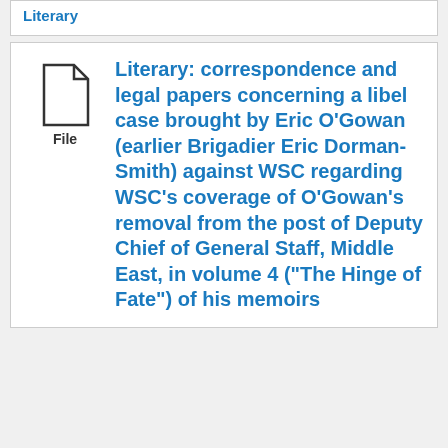Literary
Literary: correspondence and legal papers concerning a libel case brought by Eric O'Gowan (earlier Brigadier Eric Dorman-Smith) against WSC regarding WSC's coverage of O'Gowan's removal from the post of Deputy Chief of General Staff, Middle East, in volume 4 ("The Hinge of Fate") of his memoirs